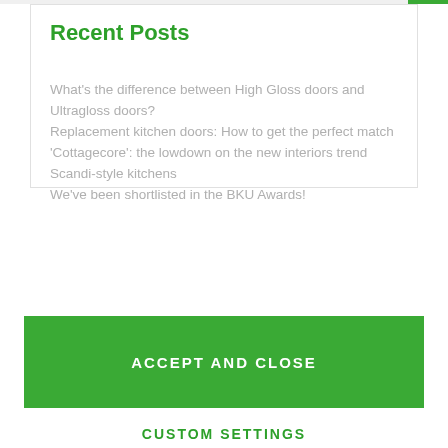Recent Posts
What's the difference between High Gloss doors and Ultragloss doors?
Replacement kitchen doors: How to get the perfect match
'Cottagecore': the lowdown on the new interiors trend
Scandi-style kitchens
We've been shortlisted in the BKU Awards!
We use cookies to make your shopping experience the best it can be. Find out more.
ACCEPT AND CLOSE
CUSTOM SETTINGS